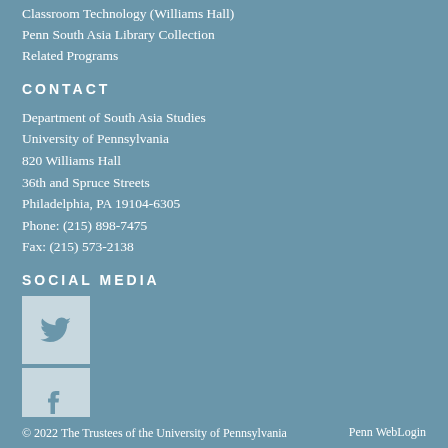Classroom Technology (Williams Hall)
Penn South Asia Library Collection
Related Programs
CONTACT
Department of South Asia Studies
University of Pennsylvania
820 Williams Hall
36th and Spruce Streets
Philadelphia, PA 19104-6305
Phone: (215) 898-7475
Fax: (215) 573-2138
SOCIAL MEDIA
[Figure (logo): Twitter bird icon in a square box]
[Figure (logo): Facebook f icon in a square box]
© 2022 The Trustees of the University of Pennsylvania     Penn WebLogin